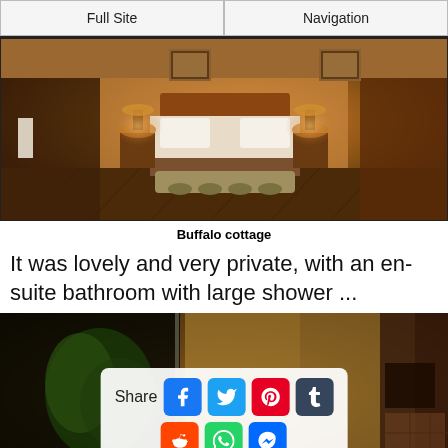Full Site | Navigation
[Figure (photo): Interior of a warm-toned safari lodge bedroom (Buffalo cottage) with a large bed, decorative bench at foot of bed, framed artwork on walls, lamps on nightstands, and an en-suite bathroom visible to the left. Stone tile flooring and wooden decor.]
Buffalo cottage
It was lovely and very private, with an en-suite bathroom with large shower ...
[Figure (photo): Dark interior photo of a large outdoor shower with lush tropical plants visible through glass, and a warm-toned bathroom with tiled surfaces and wooden elements. A share dialog overlays the image.]